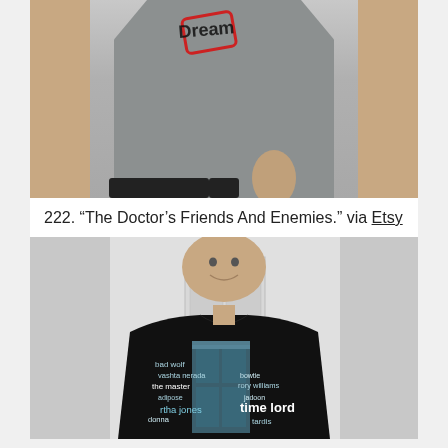[Figure (photo): Person wearing a gray t-shirt with a graphic design at the top (partial view, torso only)]
222. “The Doctor’s Friends And Enemies.” via Etsy
[Figure (photo): Man wearing a black t-shirt with a Doctor Who word cloud graphic featuring a TARDIS shape and words like 'bad wolf', 'vashta nerada', 'the master', 'time lord', 'tardis', 'bowtie', 'rory williams', 'adipose', 'martha jones', 'donna']